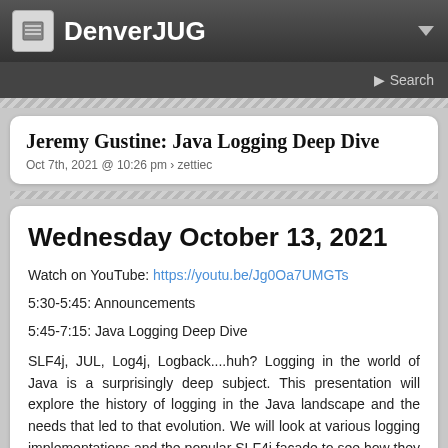DenverJUG
Jeremy Gustine: Java Logging Deep Dive
Oct 7th, 2021 @ 10:26 pm › zettiec
Wednesday October 13, 2021
Watch on YouTube: https://youtu.be/Jg0Oa7UMGTs
5:30-5:45: Announcements
5:45-7:15: Java Logging Deep Dive
SLF4j, JUL, Log4j, Logback....huh? Logging in the world of Java is a surprisingly deep subject. This presentation will explore the history of logging in the Java landscape and the needs that led to that evolution. We will look at various logging implementations and the popular SLF4j facade to see how they work together. We will also look at how to debug interesting scenarios that we may